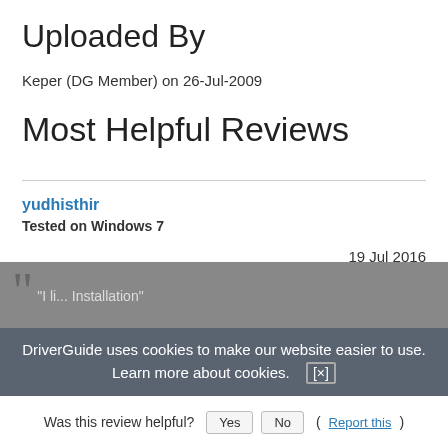Uploaded By
Keper (DG Member) on 26-Jul-2009
Most Helpful Reviews
yudhisthir
Tested on Windows 7
19 Jul 2016
(11 minutes after download)
[Figure (infographic): Rating box with thumbs up icon and three ratings: Installation 4/5, Stability 5/5, Compatibility 4/5 shown with filled and empty green circles]
DriverGuide uses cookies to make our website easier to use. Learn more about cookies. [x]
"I li... Installation"
Was this review helpful? Yes No (Report this)